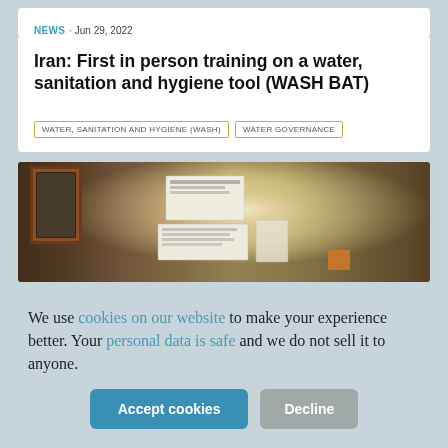NEWS · Jun 29, 2022
Iran: First in person training on a water, sanitation and hygiene tool (WASH BAT)
WATER, SANITATION AND HYGIENE (WASH)
WATER GOVERNANCE
[Figure (photo): Indoor scene showing papers pinned to a wall, with a wooden picture frame on the left side]
We use cookies on our website to make your experience better. Your personal data is safe and we do not sell it to anyone.